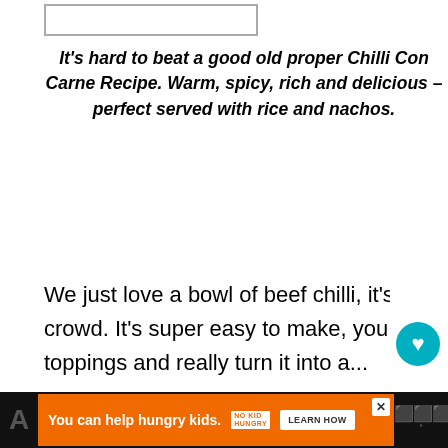[Figure (other): Empty white rectangle with border, likely an image placeholder at top of page]
It's hard to beat a good old proper Chilli Con Carne Recipe. Warm, spicy, rich and delicious – perfect served with rice and nachos.
We just love a bowl of beef chilli, it's the perfect food for feeding a family or a crowd. It's super easy to make, you can throw in all your favourite sides and toppings and really turn it into a...
[Figure (other): WHAT'S NEXT callout box with thumbnail image and text: Mild Chilli Con Carne For...]
[Figure (other): Advertisement banner: You can help hungry kids. No Kid Hungry. LEARN HOW]